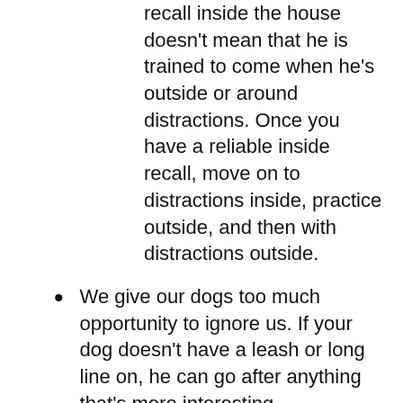recall inside the house doesn't mean that he is trained to come when he's outside or around distractions. Once you have a reliable inside recall, move on to distractions inside, practice outside, and then with distractions outside.
We give our dogs too much opportunity to ignore us. If your dog doesn't have a leash or long line on, he can go after anything that's more interesting.
Keep up a high rate of reinforcement! Coming is too important a behavior to slack off on rewards. Vary the rewards,